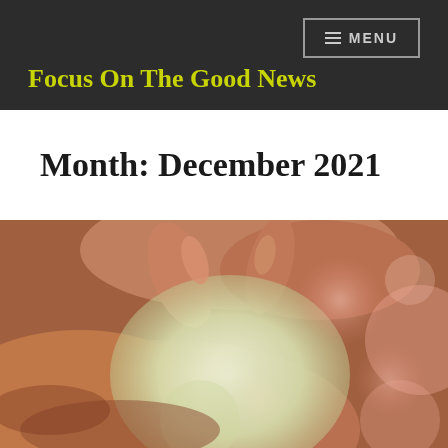Focus On The Good News
Month: December 2021
[Figure (photo): Close-up photograph of hands forming a heart shape, with a soft blurred background of warm pinkish and greenish light bokeh.]